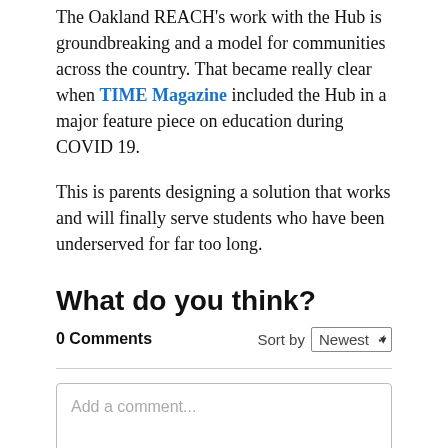The Oakland REACH's work with the Hub is groundbreaking and a model for communities across the country. That became really clear when TIME Magazine included the Hub in a major feature piece on education during COVID 19.
This is parents designing a solution that works and will finally serve students who have been underserved for far too long.
What do you think?
0 Comments   Sort by Newest
Add a comment...